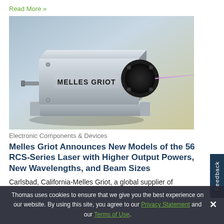Read More »
[Figure (photo): Melles Griot laser device — a silver/grey rectangular box with black circular laser aperture on the right side emitting a purple/violet laser beam, mounted on a silver base plate. Brand name MELLES GRIOT visible on front face.]
Electronic Components & Devices
Melles Griot Announces New Models of the 56 RCS-Series Laser with Higher Output Powers, New Wavelengths, and Beam Sizes
Carlsbad, California-Melles Griot, a global supplier of
Thomas uses cookies to ensure that we give you the best experience on our website. By using this site, you agree to our Privacy Statement and our Terms of Use.